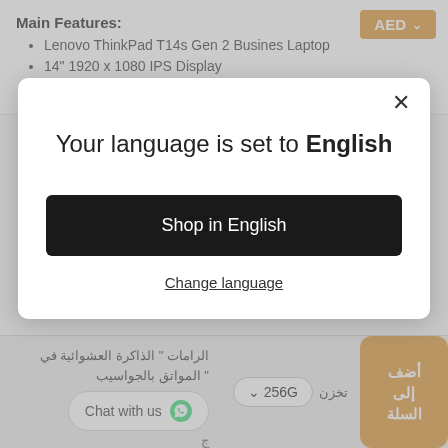Main Features:
Lenovo ThinkPad T14s Gen 2 Busines Laptop
14" 1920 x 1080 IPS Display
11th Generation Intel Core i5-1145G7 - (2.6 GHz 4-
[Figure (screenshot): Language selection modal dialog with message 'Your language is set to English', a black 'Shop in English' button, and a 'Change language' underlined link. Modal has an X close button top right.]
الرامات " الذاكرة العشوائية في
" المواتق بالجواسيب
تخزن 256G
أضف إلى السلة
Chat with us